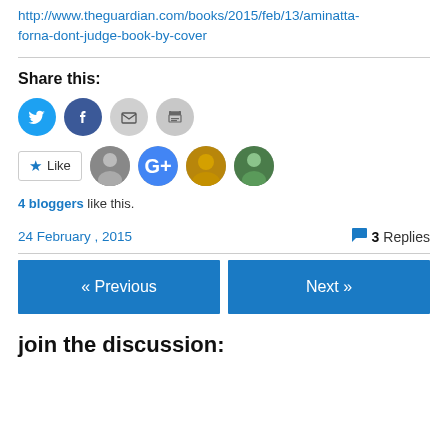http://www.theguardian.com/books/2015/feb/13/aminatta-forna-dont-judge-book-by-cover
Share this:
[Figure (infographic): Social share buttons: Twitter (blue circle), Facebook (blue circle), Email (gray circle), Print (gray circle)]
[Figure (infographic): Like button and 4 blogger avatars]
4 bloggers like this.
24 February , 2015
3 Replies
« Previous
Next »
join the discussion: